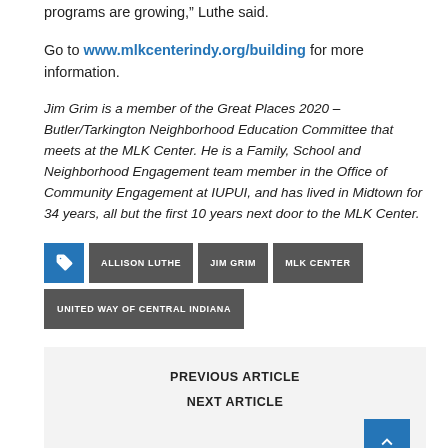programs are growing, Luthe said.
Go to www.mlkcenterindy.org/building for more information.
Jim Grim is a member of the Great Places 2020 – Butler/Tarkington Neighborhood Education Committee that meets at the MLK Center. He is a Family, School and Neighborhood Engagement team member in the Office of Community Engagement at IUPUI, and has lived in Midtown for 34 years, all but the first 10 years next door to the MLK Center.
ALLISON LUTHE
JIM GRIM
MLK CENTER
UNITED WAY OF CENTRAL INDIANA
PREVIOUS ARTICLE
NEXT ARTICLE
RELATED ARTICLES